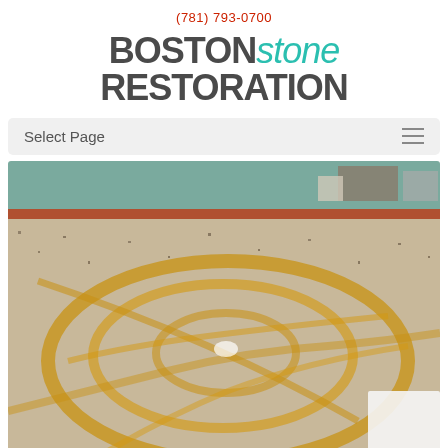(781) 793-0700
BOSTON stone RESTORATION
Select Page
[Figure (photo): Stone floor restoration photo showing a polished granite floor with golden veined pattern, viewed from above at an angle. Background shows teal/green wall and some furniture or equipment at the top. The floor surface has concentric swirl-like golden veining on a speckled gray-beige granite background with a bright highlight/reflection near the center.]